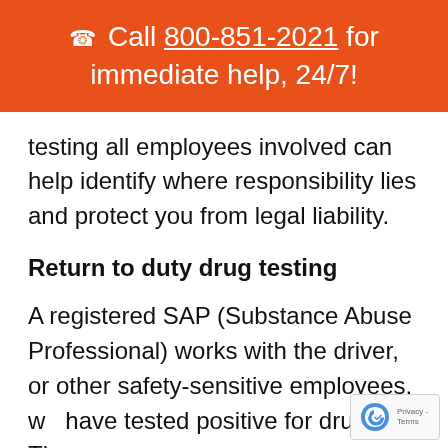☎ Call 800-851-2021 for immediate help, 24/7!
testing all employees involved can help identify where responsibility lies and protect you from legal liability.
Return to duty drug testing
A registered SAP (Substance Abuse Professional) works with the driver, or other safety-sensitive employees, who have tested positive for drugs. The